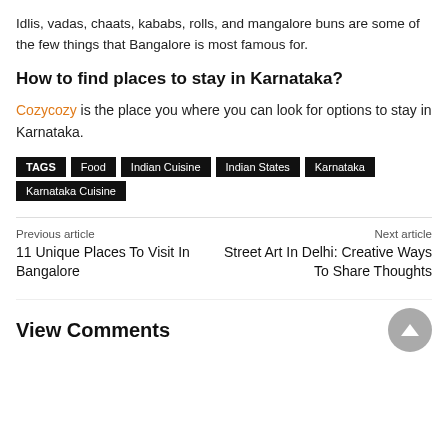Idlis, vadas, chaats, kababs, rolls, and mangalore buns are some of the few things that Bangalore is most famous for.
How to find places to stay in Karnataka?
Cozycozy is the place you where you can look for options to stay in Karnataka.
TAGS  Food  Indian Cuisine  Indian States  Karnataka  Karnataka Cuisine
Previous article
11 Unique Places To Visit In Bangalore
Next article
Street Art In Delhi: Creative Ways To Share Thoughts
View Comments